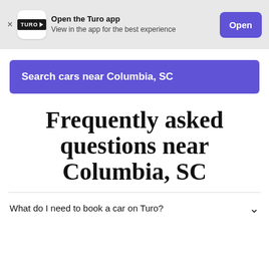[Figure (screenshot): Turo app banner with logo, open app prompt, and Open button]
Search cars near Columbia, SC
Frequently asked questions near Columbia, SC
What do I need to book a car on Turo?